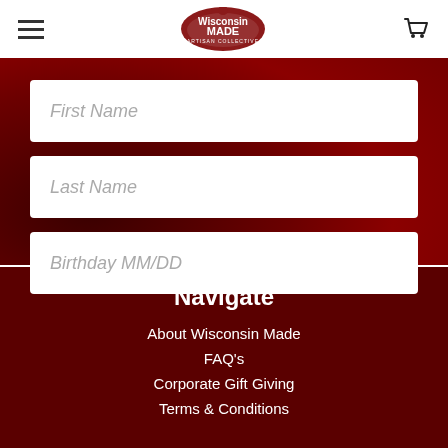[Figure (logo): Wisconsin Made Artisan Collective logo - circular red logo with text]
First Name
Last Name
Birthday MM/DD
Navigate
About Wisconsin Made
FAQ's
Corporate Gift Giving
Terms & Conditions